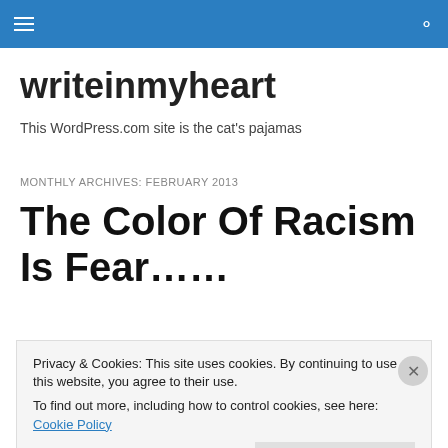writeinmyheart navigation bar
writeinmyheart
This WordPress.com site is the cat's pajamas
MONTHLY ARCHIVES: FEBRUARY 2013
The Color Of Racism Is Fear……
Privacy & Cookies: This site uses cookies. By continuing to use this website, you agree to their use.
To find out more, including how to control cookies, see here: Cookie Policy
Close and accept